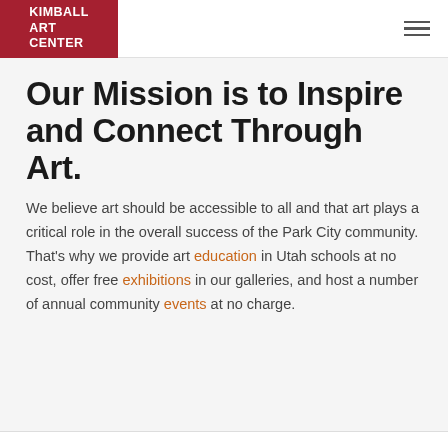KIMBALL ART CENTER
Our Mission is to Inspire and Connect Through Art.
We believe art should be accessible to all and that art plays a critical role in the overall success of the Park City community. That's why we provide art education in Utah schools at no cost, offer free exhibitions in our galleries, and host a number of annual community events at no charge.